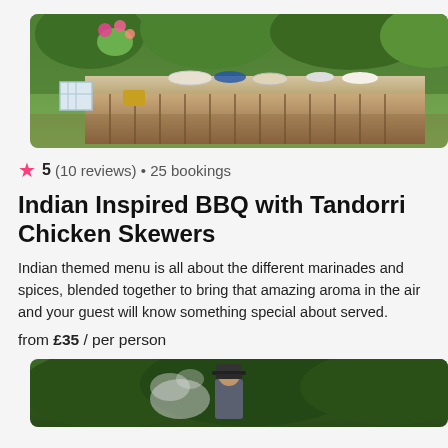[Figure (photo): Outdoor BBQ buffet table with bowls, flowers, and wooden slat front, in a garden setting]
★ 5 (10 reviews) • 25 bookings
Indian Inspired BBQ with Tandorri Chicken Skewers
Indian themed menu is all about the different marinades and spices, blended together to bring that amazing aroma in the air and your guest will know something special about served.
from £35 / per person
[Figure (photo): Chef with hat standing outdoors near smoke in a garden setting]